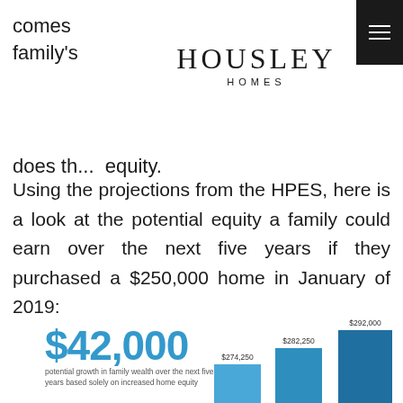[Figure (logo): Housley Homes logo — serif HOUSLEY with HOMES below in spaced caps]
comes ... ue of family's ... es, so does th... ...equity.
Using the projections from the HPES, here is a look at the potential equity a family could earn over the next five years if they purchased a $250,000 home in January of 2019:
[Figure (bar-chart): Home Value Growth]
$42,000
potential growth in family wealth over the next five years based solely on increased home equity